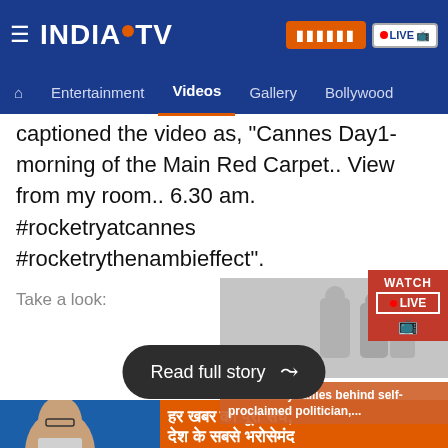INDIA TV — Navigation: Home, Entertainment, Videos, Gallery, Bollywood
captioned the video as, "Cannes Day1- morning of the Main Red Carpet.. View from my room.. 6.30 am. #rocketryatcannes #rocketrythenambieffect".
Take a look:
[Figure (screenshot): Thumbnail image of people with Watch Live badge overlay]
Read full story
[Figure (screenshot): Community rallies behind self-proclaimed politician, overlay banner]
[Figure (photo): India TV promo banner with anchor and Hindi text: हर खबर का पूरा सच, देश के सबसे भरोसेमंद]